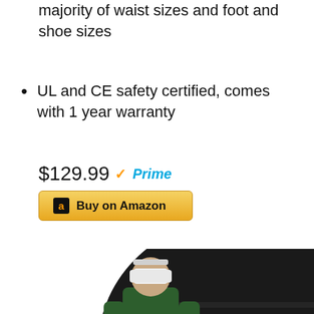majority of waist sizes and foot and shoe sizes
UL and CE safety certified, comes with 1 year warranty
$129.99 ✓Prime
[Figure (other): Buy on Amazon button with Amazon logo]
[Figure (photo): Person wearing VR headset (Oculus Quest 2) holding controllers, standing in front of a large circular black VR mat with a triangle logo]